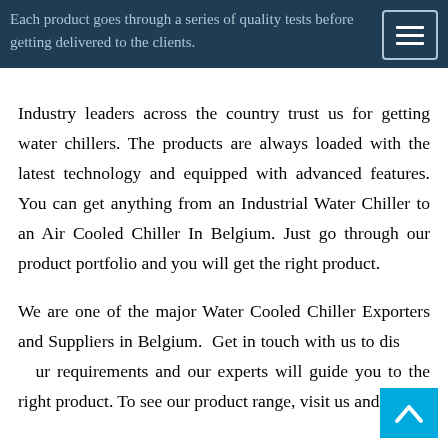Each product goes through a series of quality tests before getting delivered to the clients.
Industry leaders across the country trust us for getting water chillers. The products are always loaded with the latest technology and equipped with advanced features. You can get anything from an Industrial Water Chiller to an Air Cooled Chiller In Belgium. Just go through our product portfolio and you will get the right product.
We are one of the major Water Cooled Chiller Exporters and Suppliers in Belgium. Get in touch with us to discuss your requirements and our experts will guide you to the right product. We are always committed to the excellence of our